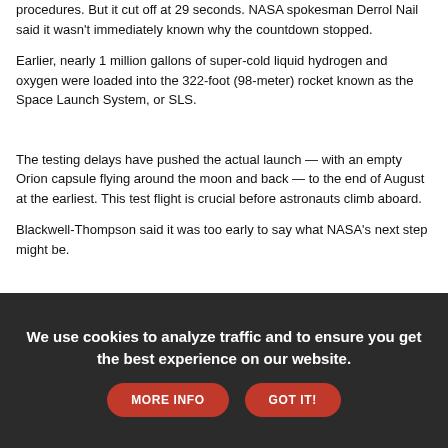procedures. But it cut off at 29 seconds. NASA spokesman Derrol Nail said it wasn't immediately known why the countdown stopped.
Earlier, nearly 1 million gallons of super-cold liquid hydrogen and oxygen were loaded into the 322-foot (98-meter) rocket known as the Space Launch System, or SLS.
The testing delays have pushed the actual launch — with an empty Orion capsule flying around the moon and back — to the end of August at the earliest. This test flight is crucial before astronauts climb aboard.
Blackwell-Thompson said it was too early to say what NASA's next step might be.
We use cookies to analyze traffic and to ensure you get the best experience on our website.  MORE INFO   GOT IT!